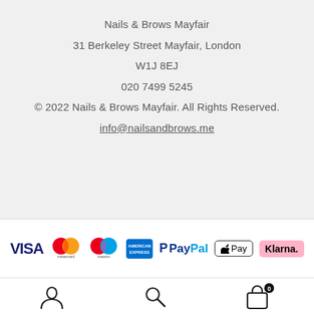Nails & Brows Mayfair
31 Berkeley Street Mayfair, London
W1J 8EJ
020 7499 5245
© 2022 Nails & Brows Mayfair. All Rights Reserved.
info@nailsandbrows.me
[Figure (logo): Payment method logos: VISA, Mastercard, Maestro, American Express, PayPal, Apple Pay, Klarna]
[Figure (infographic): Bottom navigation icons: user/account icon, search icon, shopping bag icon with badge showing 0]